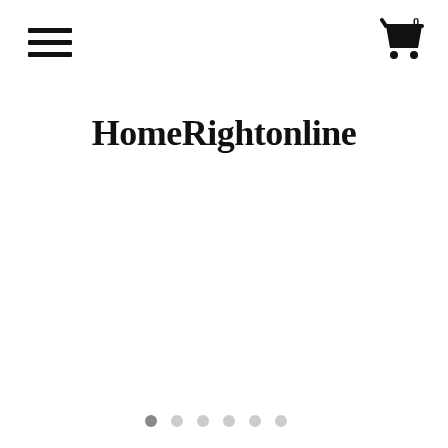[Figure (other): Hamburger menu icon (three horizontal lines) in top-left corner]
[Figure (other): Shopping cart icon with badge showing '0' in top-right corner]
HomeRightonline
[Figure (other): Carousel pagination dots — 6 dots, first one filled/dark, rest light gray]